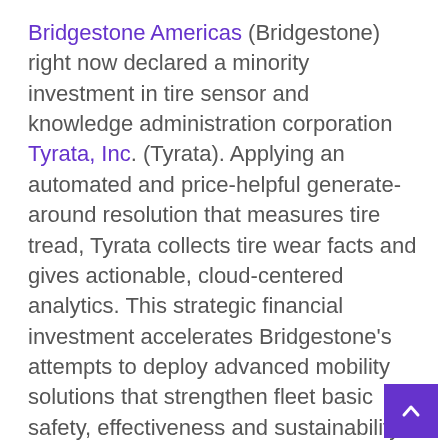Bridgestone Americas (Bridgestone) right now declared a minority investment in tire sensor and knowledge administration corporation Tyrata, Inc. (Tyrata). Applying an automated and price-helpful generate-around resolution that measures tire tread, Tyrata collects tire wear facts and gives actionable, cloud-centered analytics. This strategic financial investment accelerates Bridgestone's attempts to deploy advanced mobility solutions that strengthen fleet basic safety, effectiveness and sustainability.

This push launch features multimedia. See the total launch in this article:
https://www.businesswire.com/news/dwelling/2...